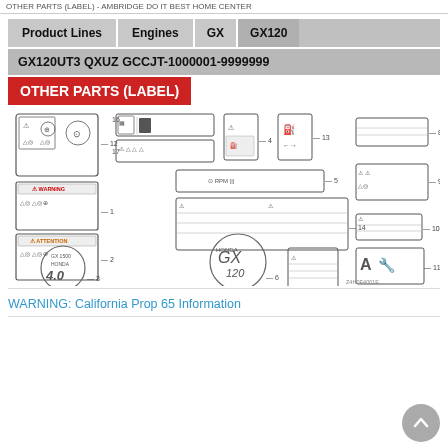OTHER PARTS (LABEL) - AMBRIDGE DO IT BEST HOME CENTER
Product Lines | Engines | GX | GX120
GX120UT3 QXUZ GCCJT-1000001-9999999
OTHER PARTS (LABEL)
[Figure (engineering-diagram): Technical parts diagram showing multiple labeled components for Honda GX120 engine labels. Items numbered 1-17 include various warning labels, safety stickers, Honda GX 120 branding badge, and other decals. Reference code Z4H0E4001E shown at bottom right.]
WARNING: California Prop 65 Information